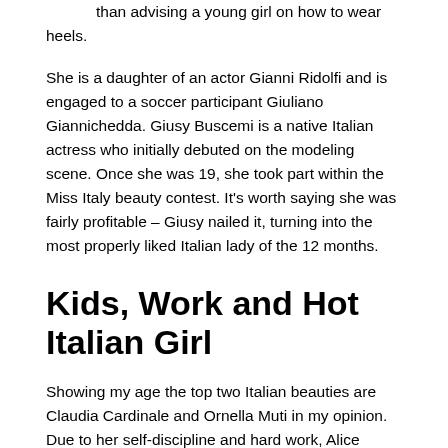than advising a young girl on how to wear heels.
She is a daughter of an actor Gianni Ridolfi and is engaged to a soccer participant Giuliano Giannichedda. Giusy Buscemi is a native Italian actress who initially debuted on the modeling scene. Once she was 19, she took part within the Miss Italy beauty contest. It's worth saying she was fairly profitable – Giusy nailed it, turning into the most properly liked Italian lady of the 12 months.
Kids, Work and Hot Italian Girl
Showing my age the top two Italian beauties are Claudia Cardinale and Ornella Muti in my opinion. Due to her self-discipline and hard work, Alice managed to turn out to be Italia's Next Top Model. Her willpower and class impressed both the judges and the public. The year 2006 saw her